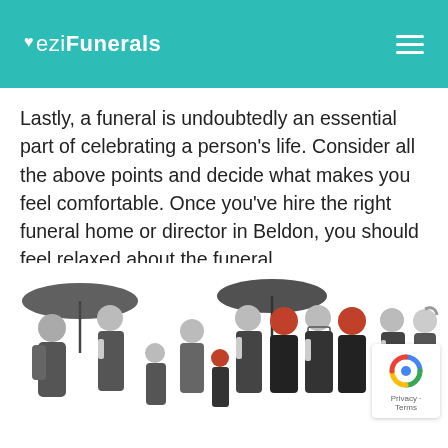eziFunerals
Lastly, a funeral is undoubtedly an essential part of celebrating a person’s life. Consider all the above points and decide what makes you feel comfortable. Once you’ve hire the right funeral home or director in Beldon, you should feel relaxed about the funeral.
[Figure (illustration): Illustration of a group of people dressed in funeral attire, some holding black umbrellas. Two figures in the center have orange/red hair and are wearing black dresses. The rest of the group is rendered in grayscale.]